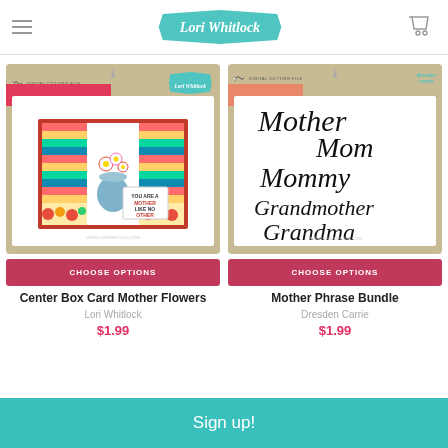Lori Whitlock
[Figure (screenshot): Product image of Center Box Card Mother Flowers digital cutting file in packaging]
[Figure (screenshot): Product image of Mother Phrase Bundle showing cursive words: Mother, Mom, Mommy, Grandmother, Grandma]
CHOOSE OPTIONS
CHOOSE OPTIONS
Center Box Card Mother Flowers
Lori Whitlock
$1.99
Mother Phrase Bundle
Dresden Carrie
$1.99
Sign up!